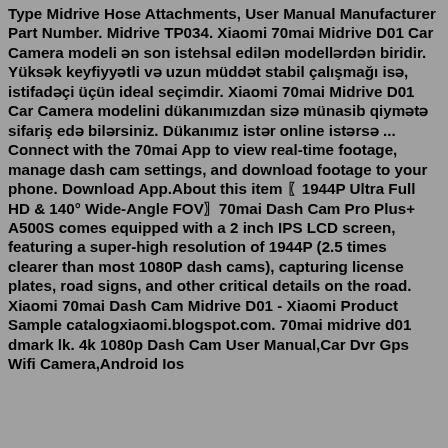Type Midrive Hose Attachments, User Manual Manufacturer Part Number. Midrive TP034. Xiaomi 70mai Midrive D01 Car Camera modeli ən son istehsal edilən modellərdən biridir. Yüksək keyfiyyətli və uzun müddət stabil çalışmağı isə, istifadəçi üçün ideal seçimdir. Xiaomi 70mai Midrive D01 Car Camera modelini dükanımızdan sizə münasib qiymətə sifariş edə bilərsiniz. Dükanımız istər online istərsə ... Connect with the 70mai App to view real-time footage, manage dash cam settings, and download footage to your phone. Download App.About this item 〖1944P Ultra Full HD & 140° Wide-Angle FOV〗70mai Dash Cam Pro Plus+ A500S comes equipped with a 2 inch IPS LCD screen, featuring a super-high resolution of 1944P (2.5 times clearer than most 1080P dash cams), capturing license plates, road signs, and other critical details on the road. Xiaomi 70mai Dash Cam Midrive D01 - Xiaomi Product Sample catalogxiaomi.blogspot.com. 70mai midrive d01 dmark lk. 4k 1080p Dash Cam User Manual,Car Dvr Gps Wifi Camera,Android Ios